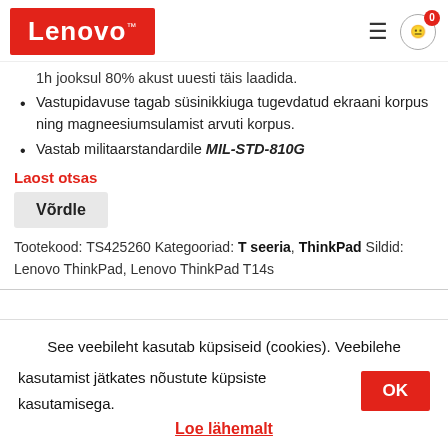[Figure (logo): Lenovo logo — white text on red background]
1h jooksul 80% akust uuesti täis laadida.
Vastupidavuse tagab süsinikkiuga tugevdatud ekraani korpus ning magneesiumsulamist arvuti korpus.
Vastab militaarstandardile MIL-STD-810G
Laost otsas
Võrdle
Tootekood: TS425260 Kategooriad: T seeria, ThinkPad Sildid: Lenovo ThinkPad, Lenovo ThinkPad T14s
See veebileht kasutab küpsiseid (cookies). Veebilehe kasutamist jätkates nõustute küpsiste kasutamisega.
Loe lähemalt